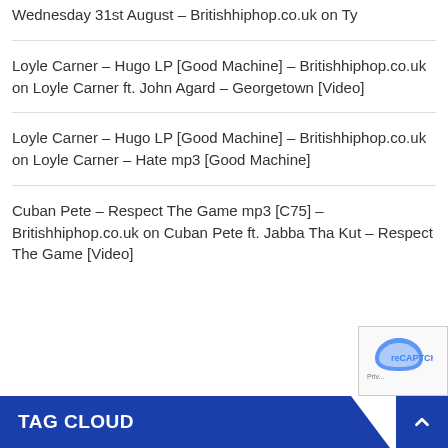Wednesday 31st August – Britishhiphop.co.uk on Ty
Loyle Carner – Hugo LP [Good Machine] – Britishhiphop.co.uk on Loyle Carner ft. John Agard – Georgetown [Video]
Loyle Carner – Hugo LP [Good Machine] – Britishhiphop.co.uk on Loyle Carner – Hate mp3 [Good Machine]
Cuban Pete – Respect The Game mp3 [C75] – Britishhiphop.co.uk on Cuban Pete ft. Jabba Tha Kut – Respect The Game [Video]
TAG CLOUD